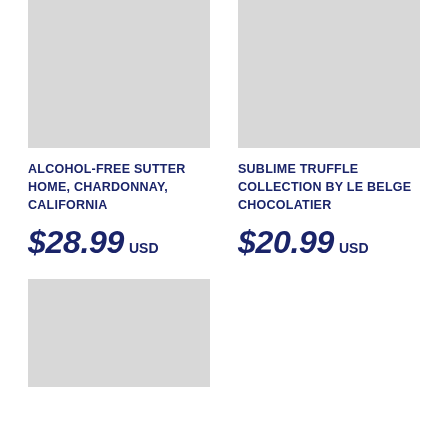[Figure (photo): Gray placeholder image for Alcohol-Free Sutter Home Chardonnay California product]
ALCOHOL-FREE SUTTER HOME, CHARDONNAY, CALIFORNIA
$28.99 USD
[Figure (photo): Gray placeholder image for Sublime Truffle Collection by Le Belge Chocolatier product]
SUBLIME TRUFFLE COLLECTION BY LE BELGE CHOCOLATIER
$20.99 USD
[Figure (photo): Gray placeholder image for third product (partially visible)]